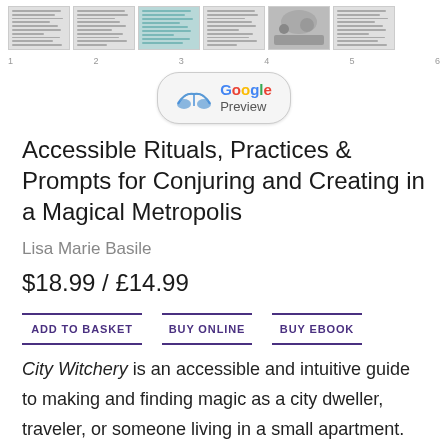[Figure (screenshot): Row of six small thumbnail page previews of the book interior, showing text and image pages]
[Figure (logo): Google Preview button with Google logo and open book icon]
Accessible Rituals, Practices & Prompts for Conjuring and Creating in a Magical Metropolis
Lisa Marie Basile
$18.99 / £14.99
ADD TO BASKET   BUY ONLINE   BUY eBOOK
City Witchery is an accessible and intuitive guide to making and finding magic as a city dweller, traveler, or someone living in a small apartment.